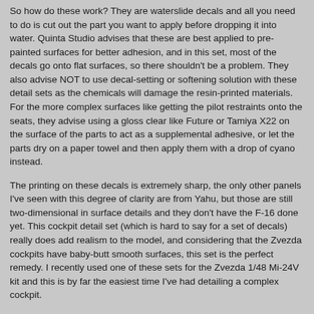So how do these work? They are waterslide decals and all you need to do is cut out the part you want to apply before dropping it into water. Quinta Studio advises that these are best applied to pre-painted surfaces for better adhesion, and in this set, most of the decals go onto flat surfaces, so there shouldn't be a problem. They also advise NOT to use decal-setting or softening solution with these detail sets as the chemicals will damage the resin-printed materials. For the more complex surfaces like getting the pilot restraints onto the seats, they advise using a gloss clear like Future or Tamiya X22 on the surface of the parts to act as a supplemental adhesive, or let the parts dry on a paper towel and then apply them with a drop of cyano instead.
The printing on these decals is extremely sharp, the only other panels I've seen with this degree of clarity are from Yahu, but those are still two-dimensional in surface details and they don't have the F-16 done yet. This cockpit detail set (which is hard to say for a set of decals) really does add realism to the model, and considering that the Zvezda cockpits have baby-butt smooth surfaces, this set is the perfect remedy. I recently used one of these sets for the Zvezda 1/48 Mi-24V kit and this is by far the easiest time I've had detailing a complex cockpit.
I am going to be doing more projects with these details (decals) as I'm hooked!